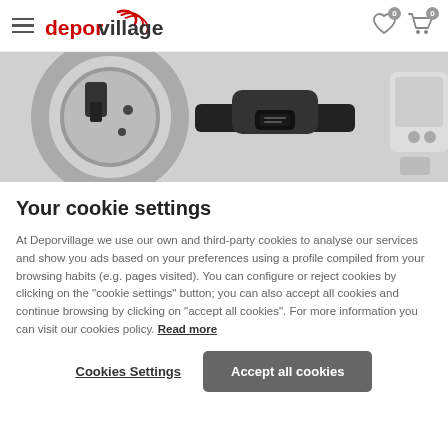deporvillage — navigation header with hamburger menu, logo, wishlist and cart icons
[Figure (photo): Banner image showing cycling/sports accessories including a handlebar mount, heart rate monitor strap with sensor, and other cycling equipment on a white background]
Your cookie settings
At Deporvillage we use our own and third-party cookies to analyse our services and show you ads based on your preferences using a profile compiled from your browsing habits (e.g. pages visited). You can configure or reject cookies by clicking on the "cookie settings" button; you can also accept all cookies and continue browsing by clicking on "accept all cookies". For more information you can visit our cookies policy. Read more
Cookies Settings | Accept all cookies